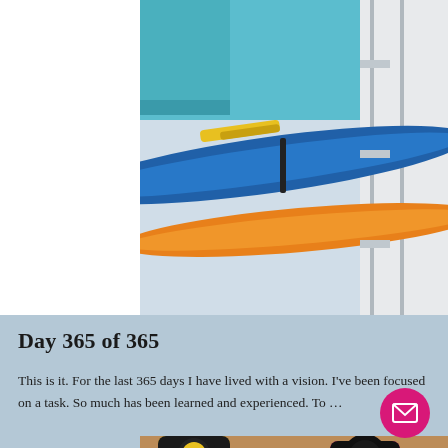[Figure (photo): Top photo showing colorful kayaks or paddleboards stacked on a rack — blue, orange, yellow, and teal colors visible, outdoors in natural light]
Day 365 of 365
This is it. For the last 365 days I have lived with a vision. I've been focused on a task. So much has been learned and experienced. To …
[Figure (photo): Bottom photo showing bottles of acrylic paint (yellow, blue, pink/magenta) with black caps marked 'MADE IN USA', held or resting on what appears to be a tan/brown cloth or bag]